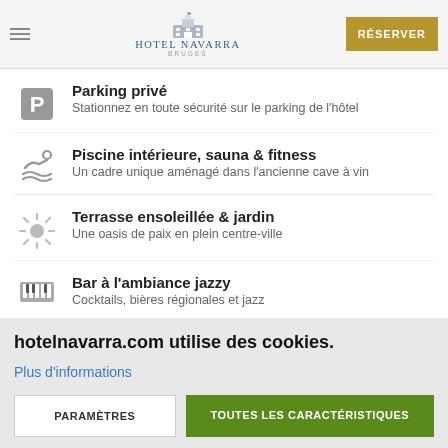[Figure (logo): Hotel Navarra Bruges logo with building illustration and text]
Parking privé
Stationnez en toute sécurité sur le parking de l'hôtel
Piscine intérieure, sauna & fitness
Un cadre unique aménagé dans l'ancienne cave à vin
Terrasse ensoleillée & jardin
Une oasis de paix en plein centre-ville
Bar à l'ambiance jazzy
Cocktails, bières régionales et jazz
hotelnavarra.com utilise des cookies.
Plus d'informations
PARAMÈTRES
TOUTES LES CARACTÉRISTIQUES